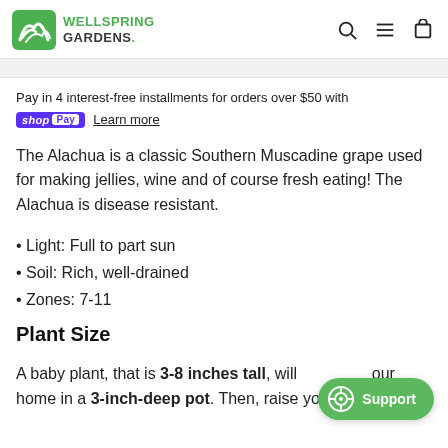WELLSPRING GARDENS
Pay in 4 interest-free installments for orders over $50 with shop Pay  Learn more
The Alachua is a classic Southern Muscadine grape used for making jellies, wine and of course fresh eating! The Alachua is disease resistant.
Light: Full to part sun
Soil: Rich, well-drained
Zones: 7-11
Plant Size
A baby plant, that is 3-8 inches tall, will arrive at your home in a 3-inch-deep pot. Then, raise your new